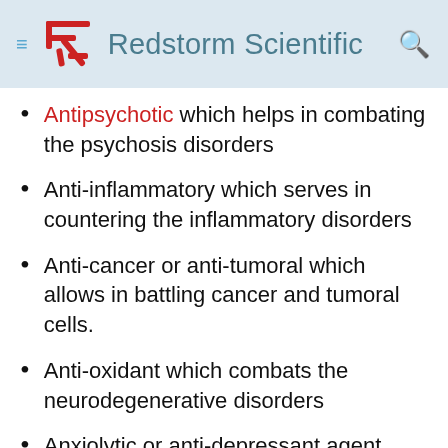Redstorm Scientific
Antipsychotic which helps in combating the psychosis disorders
Anti-inflammatory which serves in countering the inflammatory disorders
Anti-cancer or anti-tumoral which allows in battling cancer and tumoral cells.
Anti-oxidant which combats the neurodegenerative disorders
Anxiolytic or anti-depressant agent Antiemetic reducing the vomiting and